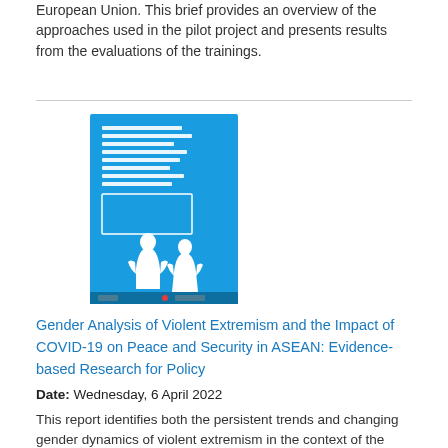European Union. This brief provides an overview of the approaches used in the pilot project and presents results from the evaluations of the trainings.
[Figure (photo): Book cover image for 'Gender Analysis of Violent Extremism and the Impact of COVID-19 on Peace and Security in ASEAN: Evidence-based Research for Policy' — blue cover with white silhouette figures]
Gender Analysis of Violent Extremism and the Impact of COVID-19 on Peace and Security in ASEAN: Evidence-based Research for Policy
Date: Wednesday, 6 April 2022
This report identifies both the persistent trends and changing gender dynamics of violent extremism in the context of the COVID-19 pandemic, based on an expert survey and interview research conducted between July and November 2021. It examined how and to what extent misogyny and hostile beliefs are fuelling violent extremism in the Southeast Asian region during the pandemic, the degree to which misogyny and hostile beliefs in the ASEAN region are fuelling violent extremism, and how these manifest themselves